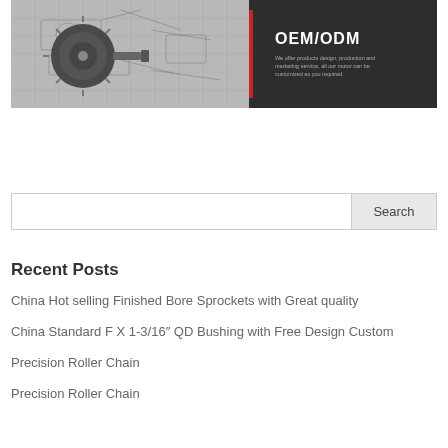[Figure (photo): OEM/ODM banner with engineering motor image on left (grey technical drawing background with motor/gear component) and dark panel on right showing 'OEM/ODM' heading with red accent bar and descriptive text: 'We offer products design, production and marketing service, all our motor can be customized as you required.']
Search
Recent Posts
China Hot selling Finished Bore Sprockets with Great quality
China Standard F X 1-3/16″ QD Bushing with Free Design Custom
Precision Roller Chain
Precision Roller Chain